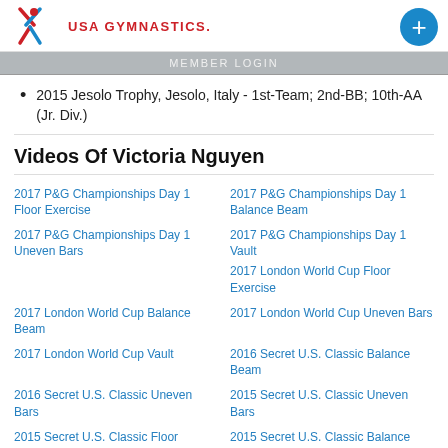USA GYMNASTICS
MEMBER LOGIN
2015 Jesolo Trophy, Jesolo, Italy - 1st-Team; 2nd-BB; 10th-AA (Jr. Div.)
Videos Of Victoria Nguyen
2017 P&G Championships Day 1 Floor Exercise
2017 P&G Championships Day 1 Balance Beam
2017 P&G Championships Day 1 Uneven Bars
2017 P&G Championships Day 1 Vault
2017 London World Cup Floor Exercise
2017 London World Cup Balance Beam
2017 London World Cup Uneven Bars
2017 London World Cup Vault
2016 Secret U.S. Classic Balance Beam
2016 Secret U.S. Classic Uneven Bars
2015 Secret U.S. Classic Uneven Bars
2015 Secret U.S. Classic Floor Exercise
2015 Secret U.S. Classic Balance Beam
2015 Secret U.S. Classic Vault
2014 P&G Championships Day 2 Floor Exercise
2014 P&G Championships Day 2 Balance Beam
2014 P&G Championships Day 2 Uneven Bars
2014 P&G Championships Day 2 Vault
2014 P&G Championships Day 1 Floor